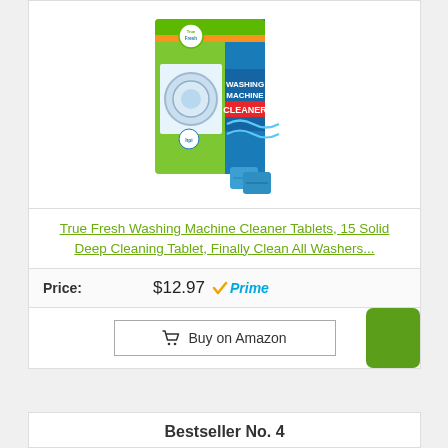[Figure (photo): True Fresh Washing Machine Cleaner product box with tablets shown in front, green and blue packaging]
True Fresh Washing Machine Cleaner Tablets, 15 Solid Deep Cleaning Tablet, Finally Clean All Washers...
Price: $12.97 ✓Prime
Buy on Amazon
Bestseller No. 4